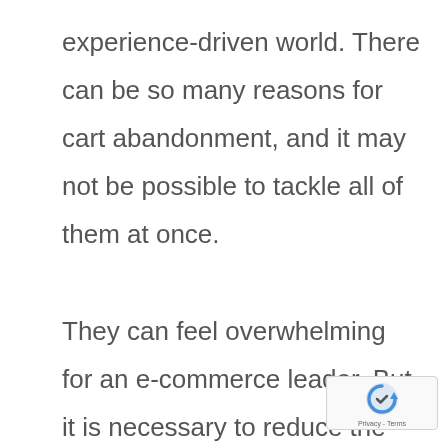experience-driven world. There can be so many reasons for cart abandonment, and it may not be possible to tackle all of them at once.

They can feel overwhelming for an e-commerce leader. But, it is necessary to reduce the cart abandonment rate to eliminate all the friction points that prevent shoppers from making quick and easy purchases. You can turn around the cart abandonment rate.